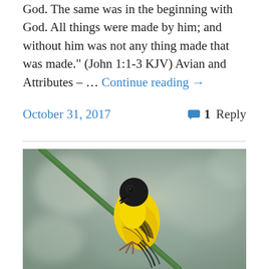God. The same was in the beginning with God. All things were made by him; and without him was not any thing made that was made." (John 1:1-3 KJV) Avian and Attributes – … Continue reading →
October 31, 2017
1 Reply
[Figure (photo): A yellow and black bird (appears to be a weaver bird or similar species) perched on a green diagonal stem or reed, against a blurred gray-green background. The bird has a bright yellow body with black head and black-streaked wings.]